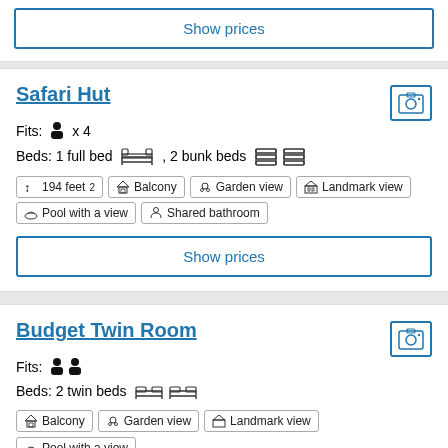Show prices
Safari Hut
Fits: person x 4
Beds: 1 full bed , 2 bunk beds
194 feet²
Balcony
Garden view
Landmark view
Pool with a view
Shared bathroom
Show prices
Budget Twin Room
Fits: 2 persons
Beds: 2 twin beds
Balcony
Garden view
Landmark view
Pool with a view